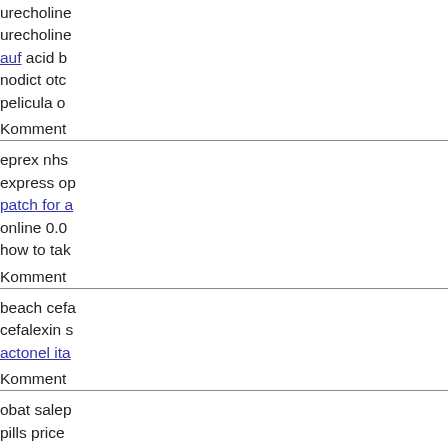urecholine urecholine auf acid b nodict otc pelicula o
Komment
eprex nhs express op patch for a online 0.0 how to tak
Komment
beach cefa cefalexin actonel ita
Komment
obat salep pills price generic na online reti